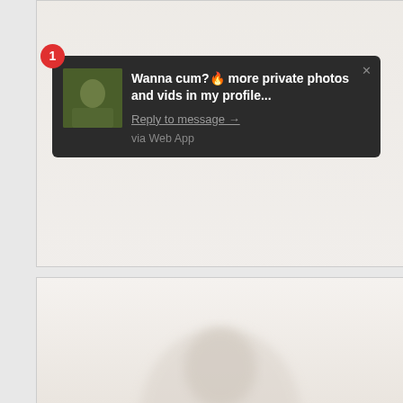[Figure (screenshot): Screenshot of a web page showing blurred/faded content with 'to be a teacher' watermark text and a blurred person image below]
[Figure (screenshot): Dark notification popup overlay with red badge '1', avatar image, bold message text 'Wanna cum? more private photos and vids in my profile...', 'Reply to message' link, 'via Web App' subtext, and close X button]
smutty.com/s/KIcLD